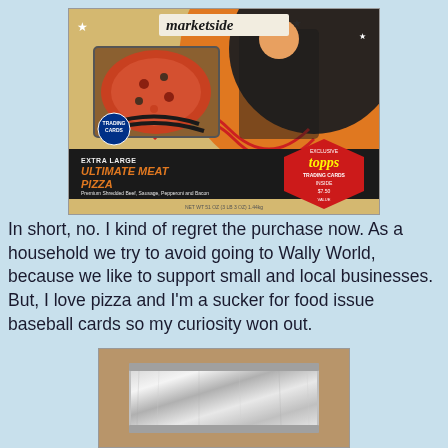[Figure (photo): Marketside Extra Large Ultimate Meat Pizza box with Topps Trading Cards inside promotion. Orange and black baseball-themed packaging showing a batter silhouette, MLB logo, and a window showing the pizza toppings. Topps red diamond badge visible on right side.]
In short, no. I kind of regret the purchase now. As a household we try to avoid going to Wally World, because we like to support small and local businesses.  But, I love pizza and I'm a sucker for food issue baseball cards so my curiosity won out.
[Figure (photo): A silver/foil trading card pack lying on a brown wooden surface, viewed from above.]